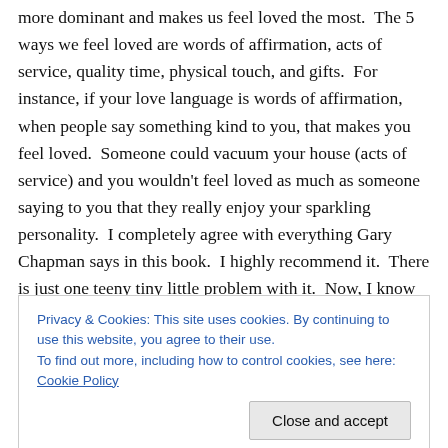more dominant and makes us feel loved the most.  The 5 ways we feel loved are words of affirmation, acts of service, quality time, physical touch, and gifts.  For instance, if your love language is words of affirmation, when people say something kind to you, that makes you feel loved.  Someone could vacuum your house (acts of service) and you wouldn't feel loved as much as someone saying to you that they really enjoy your sparkling personality.  I completely agree with everything Gary Chapman says in this book.  I highly recommend it.  There is just one teeny tiny little problem with it.  Now, I know
Privacy & Cookies: This site uses cookies. By continuing to use this website, you agree to their use.
To find out more, including how to control cookies, see here: Cookie Policy